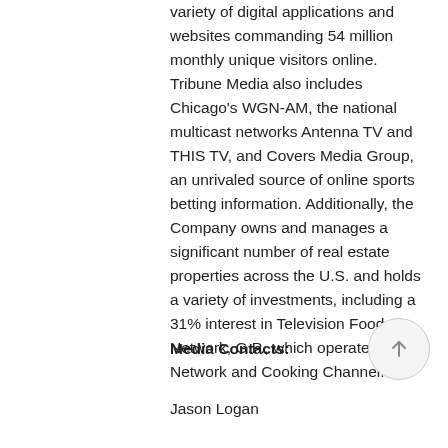variety of digital applications and websites commanding 54 million monthly unique visitors online. Tribune Media also includes Chicago's WGN-AM, the national multicast networks Antenna TV and THIS TV, and Covers Media Group, an unrivaled source of online sports betting information. Additionally, the Company owns and manages a significant number of real estate properties across the U.S. and holds a variety of investments, including a 31% interest in Television Food Network, G.P., which operates Food Network and Cooking Channel.
Media Contacts:
Jason Logan